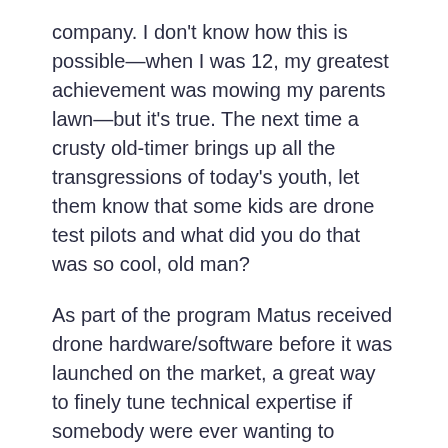company. I don't know how this is possible—when I was 12, my greatest achievement was mowing my parents lawn—but it's true. The next time a crusty old-timer brings up all the transgressions of today's youth, let them know that some kids are drone test pilots and what did you do that was so cool, old man?
As part of the program Matus received drone hardware/software before it was launched on the market, a great way to finely tune technical expertise if somebody were ever wanting to launch a drone company when they were 18, hint, hint.
“Between the time I was 11–16 years old, I was able to fly most of the products on the market, get hands on experience, and basically